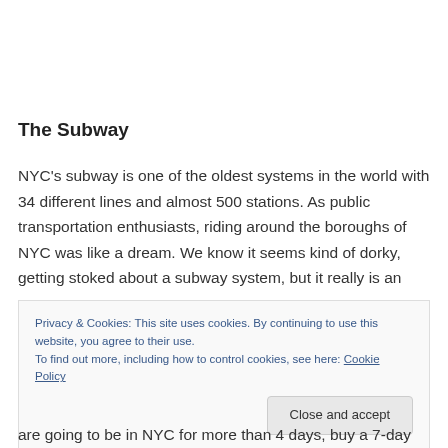The Subway
NYC's subway is one of the oldest systems in the world with 34 different lines and almost 500 stations. As public transportation enthusiasts, riding around the boroughs of NYC was like a dream. We know it seems kind of dorky, getting stoked about a subway system, but it really is an
Privacy & Cookies: This site uses cookies. By continuing to use this website, you agree to their use.
To find out more, including how to control cookies, see here: Cookie Policy
are going to be in NYC for more than 4 days, buy a 7-day